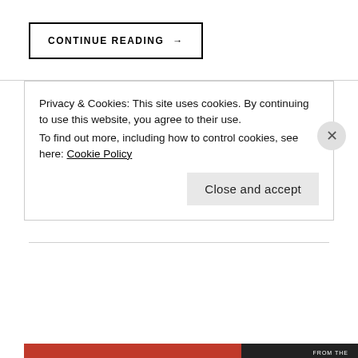CONTINUE READING →
ARC review: Ruthless Gods (Something Dark and Holy #2) by Emily A. Duncan
Privacy & Cookies: This site uses cookies. By continuing to use this website, you agree to their use.
To find out more, including how to control cookies, see here: Cookie Policy
Close and accept